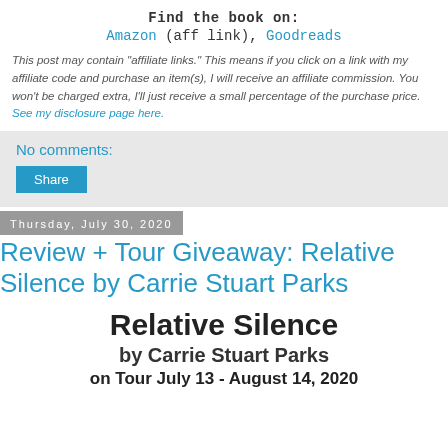Find the book on:
Amazon (aff link), Goodreads
This post may contain "affiliate links." This means if you click on a link with my affiliate code and purchase an item(s), I will receive an affiliate commission. You won't be charged extra, I'll just receive a small percentage of the purchase price. See my disclosure page here.
No comments:
Share
Thursday, July 30, 2020
Review + Tour Giveaway: Relative Silence by Carrie Stuart Parks
Relative Silence
by Carrie Stuart Parks
on Tour July 13 - August 14, 2020